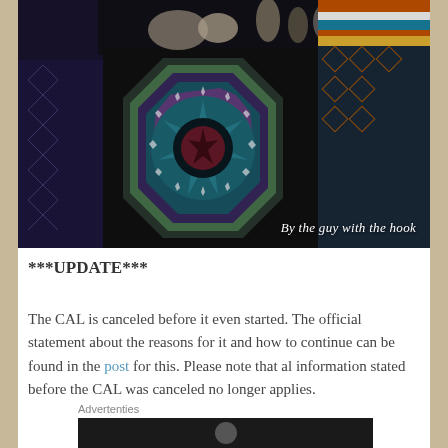[Figure (photo): Dark photograph of a crocheted blanket/throw with a large octagonal mandala motif in teal, purple, green, and dark colors. A second colorful woven textile is partially visible on the right. Decorative objects are on top. White italic watermark text reads 'By the guy with the hook' in the lower right corner.]
***UPDATE***
The CAL is canceled before it even started. The official statement about the reasons for it and how to continue can be found in the post for this. Please note that al information stated before the CAL was canceled no longer applies.
Advertenties